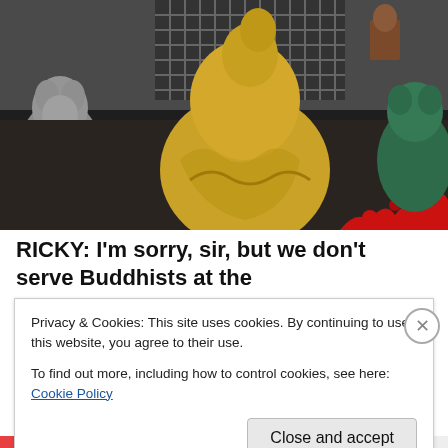[Figure (photo): A golden Buddha figurine sitting on a dark surface, with a blue rectangular box to its left, a grey animal figurine on the far left, and a teal/green stuffed animal with a red splatter to the right. A wire cage is visible in the background.]
RICKY: I'm sorry, sir, but we don't serve Buddhists at the gates of heaven
Privacy & Cookies: This site uses cookies. By continuing to use this website, you agree to their use.
To find out more, including how to control cookies, see here: Cookie Policy
Close and accept